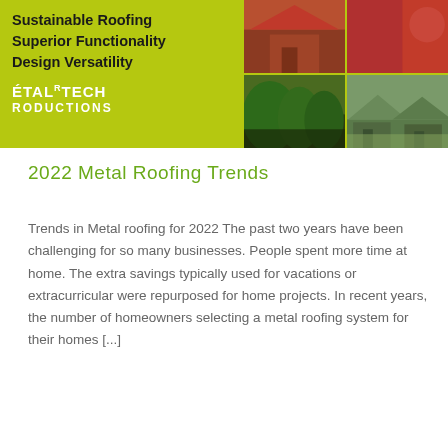[Figure (photo): Banner image with yellow-green background showing text 'Sustainable Roofing, Superior Functionality, Design Versatility' and Metal-Tech Productions logo on the left, with a 2x2 grid of roofing/house photos on the right]
2022 Metal Roofing Trends
Trends in Metal roofing for 2022 The past two years have been challenging for so many businesses. People spent more time at home. The extra savings typically used for vacations or extracurricular were repurposed for home projects. In recent years, the number of homeowners selecting a metal roofing system for their homes [...]